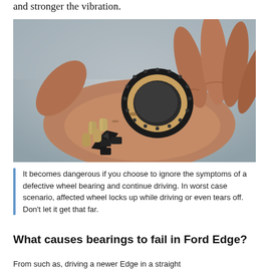and stronger the vibration.
[Figure (photo): A hand with grease-stained fingers holding a broken wheel bearing — the ring, roller cage fragments, and loose cylindrical rollers visible in the palm.]
It becomes dangerous if you choose to ignore the symptoms of a defective wheel bearing and continue driving. In worst case scenario, affected wheel locks up while driving or even tears off. Don't let it get that far.
What causes bearings to fail in Ford Edge?
From such as, driving a newer Edge in a straight